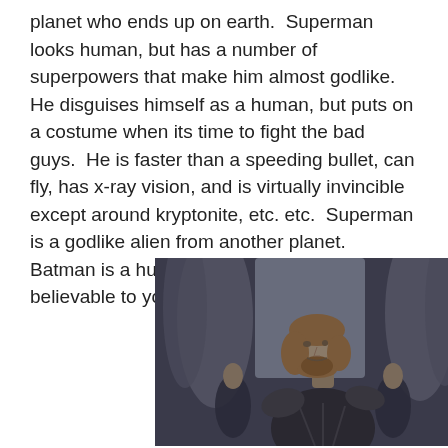planet who ends up on earth.  Superman looks human, but has a number of superpowers that make him almost godlike.  He disguises himself as a human, but puts on a costume when its time to fight the bad guys.  He is faster than a speeding bullet, can fly, has x-ray vision, and is virtually invincible except around kryptonite, etc. etc.  Superman is a godlike alien from another planet.  Batman is a human vigilante.  Which is more believable to you?
[Figure (photo): A man with shoulder-length brown hair and beard, wearing dark armor, looking over his shoulder. Behind him are tall curved structures and two figures seated in the background, suggesting a fantasy or sci-fi setting.]